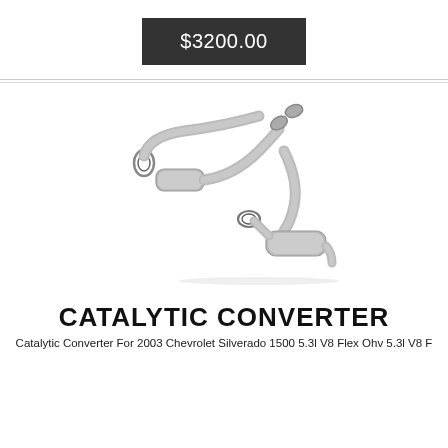$3200.00
[Figure (photo): Catalytic converter assembly with dual pipes and two catalytic units, metallic silver finish, for a 2003 Chevrolet Silverado 1500]
CATALYTIC CONVERTER
Catalytic Converter For 2003 Chevrolet Silverado 1500 5.3l V8 Flex Ohv 5.3l V8 F